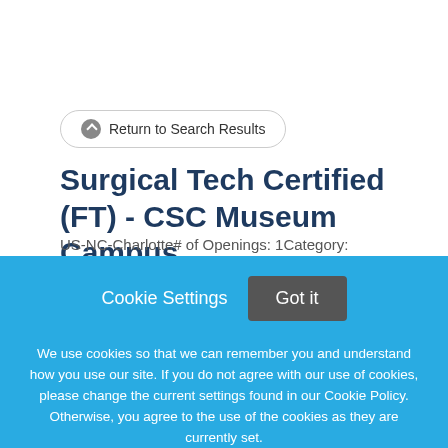Return to Search Results
Surgical Tech Certified (FT) - CSC Museum Campus
US-NC-Charlotte# of Openings: 1Category:
Cookie Settings
Got it
We use cookies so that we can remember you and understand how you use our site. If you do not agree with our use of cookies, please change the current settings found in our Cookie Policy. Otherwise, you agree to the use of the cookies as they are currently set.